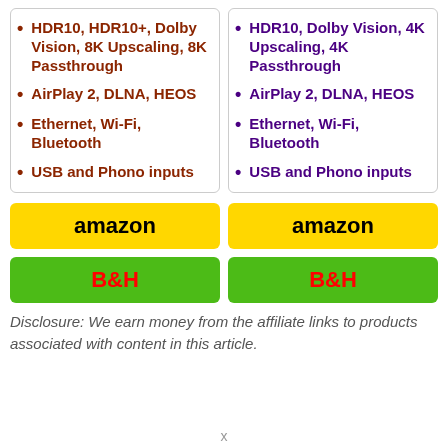HDR10, HDR10+, Dolby Vision, 8K Upscaling, 8K Passthrough
AirPlay 2, DLNA, HEOS
Ethernet, Wi-Fi, Bluetooth
USB and Phono inputs
HDR10, Dolby Vision, 4K Upscaling, 4K Passthrough
AirPlay 2, DLNA, HEOS
Ethernet, Wi-Fi, Bluetooth
USB and Phono inputs
amazon
amazon
B&H
B&H
Disclosure: We earn money from the affiliate links to products associated with content in this article.